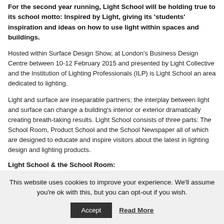For the second year running, Light School will be holding true to its school motto: Inspired by Light, giving its 'students' inspiration and ideas on how to use light within spaces and buildings.
Hosted within Surface Design Show, at London's Business Design Centre between 10-12 February 2015 and presented by Light Collective and the Institution of Lighting Professionals (ILP) is Light School an area dedicated to lighting.
Light and surface are inseparable partners; the interplay between light and surface can change a building's interior or exterior dramatically creating breath-taking results. Light School consists of three parts: The School Room, Product School and the School Newspaper all of which are designed to educate and inspire visitors about the latest in lighting design and lighting products.
Light School & the School Room:
The aim of Light School is to provide architects and designers with education and knowledge about lighting design and lighting products. The inherent
This website uses cookies to improve your experience. We'll assume you're ok with this, but you can opt-out if you wish.